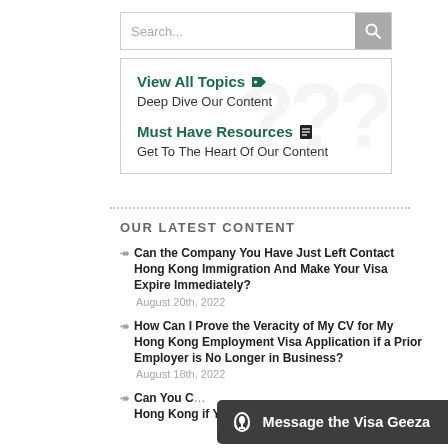[Figure (screenshot): Search bar with text input field and magnifying glass button]
View All Topics
Deep Dive Our Content
Must Have Resources
Get To The Heart Of Our Content
OUR LATEST CONTENT
Can the Company You Have Just Left Contact Hong Kong Immigration And Make Your Visa Expire Immediately? August 20th, 2022
How Can I Prove the Veracity of My CV for My Hong Kong Employment Visa Application if a Prior Employer is No Longer in Business? August 18th, 2022
Can You Change... Hong Kong if Your Deceased Spouse
[Figure (other): Message the Visa Geeza button overlay at bottom right]